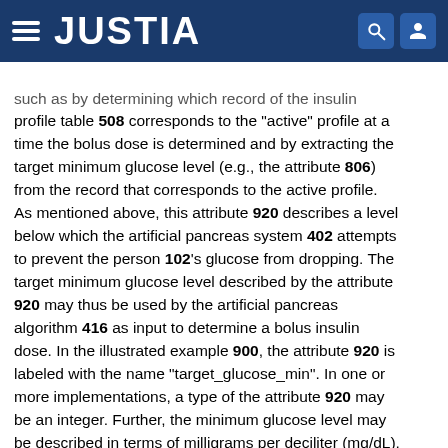JUSTIA
such as by determining which record of the insulin profile table 508 corresponds to the "active" profile at a time the bolus dose is determined and by extracting the target minimum glucose level (e.g., the attribute 806) from the record that corresponds to the active profile. As mentioned above, this attribute 920 describes a level below which the artificial pancreas system 402 attempts to prevent the person 102's glucose from dropping. The target minimum glucose level described by the attribute 920 may thus be used by the artificial pancreas algorithm 416 as input to determine a bolus insulin dose. In the illustrated example 900, the attribute 920 is labeled with the name “target_glucose_min”. In one or more implementations, a type of the attribute 920 may be an integer. Further, the minimum glucose level may be described in terms of milligrams per deciliter (mg/dL), such that the artificial pancreas system 402 attempts to